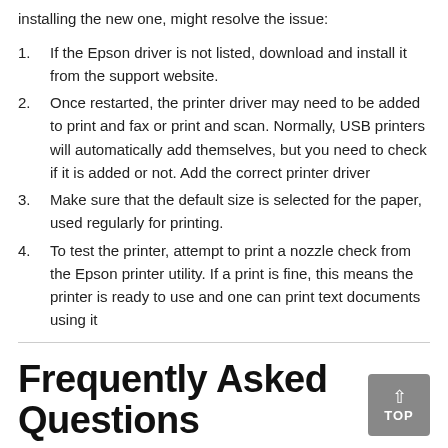installing the new one, might resolve the issue:
If the Epson driver is not listed, download and install it from the support website.
Once restarted, the printer driver may need to be added to print and fax or print and scan. Normally, USB printers will automatically add themselves, but you need to check if it is added or not. Add the correct printer driver
Make sure that the default size is selected for the paper, used regularly for printing.
To test the printer, attempt to print a nozzle check from the Epson printer utility. If a print is fine, this means the printer is ready to use and one can print text documents using it
Frequently Asked Questions
Q. I'm looking for a cartridge chip resetter for my Epson printer?